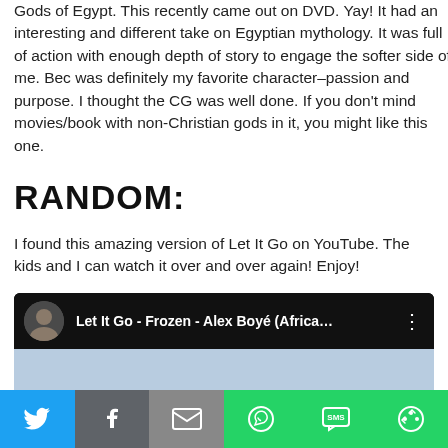Gods of Egypt. This recently came out on DVD. Yay! It had an interesting and different take on Egyptian mythology. It was full of action with enough depth of story to engage the softer side of me. Bec was definitely my favorite character–passion and purpose. I thought the CG was well done. If you don't mind movies/book with non-Christian gods in it, you might like this one.
RANDOM:
I found this amazing version of Let It Go on YouTube. The kids and I can watch it over and over again! Enjoy!
[Figure (screenshot): Embedded YouTube video player showing 'Let It Go - Frozen - Alex Boyé (Africa...' with a thumbnail of a man in white robes surrounded by a choir of children in white robes against an icy blue background. A red YouTube play button is centered on the thumbnail.]
Social sharing bar with Twitter, Facebook, Email, WhatsApp, SMS, and More icons